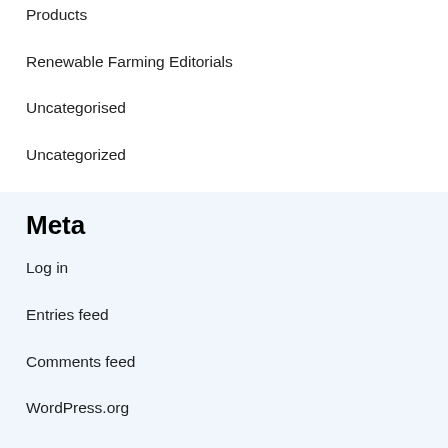Products
Renewable Farming Editorials
Uncategorised
Uncategorized
Meta
Log in
Entries feed
Comments feed
WordPress.org